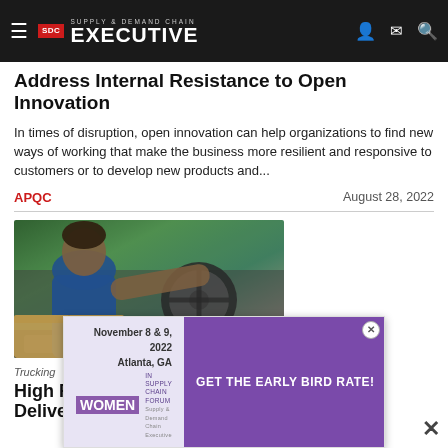Supply & Demand Chain Executive
Address Internal Resistance to Open Innovation
In times of disruption, open innovation can help organizations to find new ways of working that make the business more resilient and responsive to customers or to develop new products and...
APQC    August 28, 2022
[Figure (photo): A delivery driver in a blue shirt reaching toward the steering wheel of a vehicle, with a cardboard box visible in the foreground and green foliage in the background.]
Trucking
High Fu... Delivery ... ... Pickup Do...
[Figure (infographic): Women in Supply Chain Forum advertisement banner. November 8 & 9, 2022 Atlanta, GA. GET THE EARLY BIRD RATE! REGISTER button.]